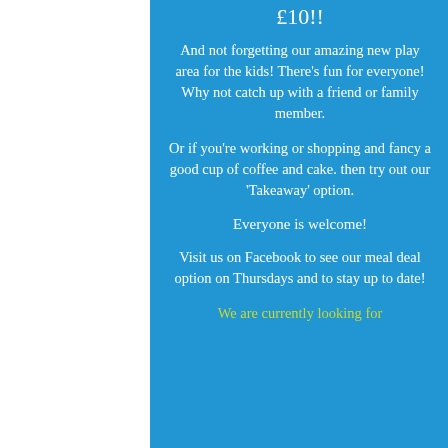£10!!
And not forgetting our amazing new play area for the kids! There's fun for everyone! Why not catch up with a friend or family member.
Or if you're working or shopping and fancy a good cup of coffee and cake. then try out our 'Takeaway' option.
Everyone is welcome!
Visit us on Facebook to see our meal deal option on Thursdays and to stay up to date!
We are currently looking for